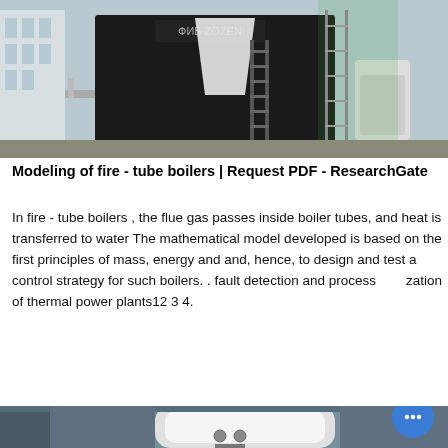[Figure (photo): Industrial fire-tube boiler installation in a factory setting, large black boiler unit with ladders and white bulk bags visible.]
Modeling of fire - tube boilers | Request PDF - ResearchGate
In fire - tube boilers , the flue gas passes inside boiler tubes, and heat is transferred to water The mathematical model developed is based on the first principles of mass, energy and and, hence, to design and test a control strategy for such boilers. . fault detection and process zation of thermal power plants12 3 4.
[Figure (screenshot): Chat online widget (blue box with chat icon), Ask Price button, and Email Us button UI elements.]
[Figure (photo): Bottom photo showing industrial boiler equipment interior, partial view.]